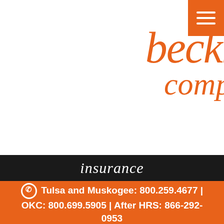[Figure (logo): The Beckman Company logo in orange italic serif font with hamburger menu button in orange top right]
insurance
Tulsa and Muskogee: 800.259.4677 | OKC: 800.699.5905 | After HRS: 866-292-0953
Your second home needs comprehensive insurance. This includes liability, structure, and contents protection. But, second homes also have a few concerns to think about, such as:
Location. Is the second home in an earthquake or flood-prone area? This may require supplemental coverage to a basic home insurance plan.
insura...
covere...
worke...
compe...
health...
busine...
motorc...
farm in...
boat in...
contra...